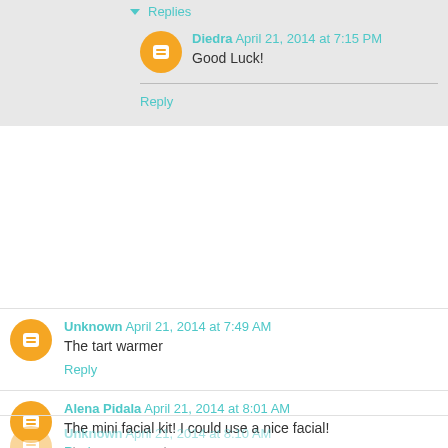Replies
Diedra April 21, 2014 at 7:15 PM
Good Luck!
Reply
Unknown April 21, 2014 at 7:49 AM
The tart warmer
Reply
Alena Pidala April 21, 2014 at 8:01 AM
The mini facial kit! I could use a nice facial!
Reply
Unknown April 21, 2014 at 8:10 AM
The Scentsy Rain...